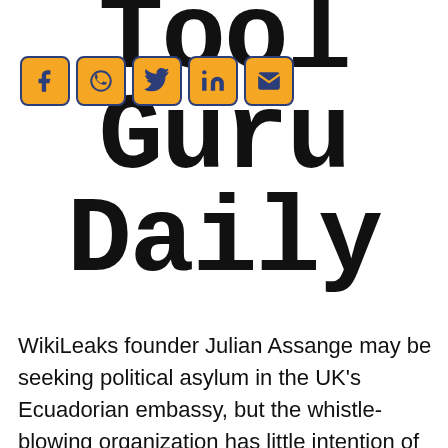Tool Guru Daily
[Figure (infographic): Social media sharing icons: Facebook, WhatsApp, Twitter, LinkedIn, Email — orange buttons with dark blue borders]
WikiLeaks founder Julian Assange may be seeking political asylum in the UK's Ecuadorian embassy, but the whistle-blowing organization has little intention of halting its activities...